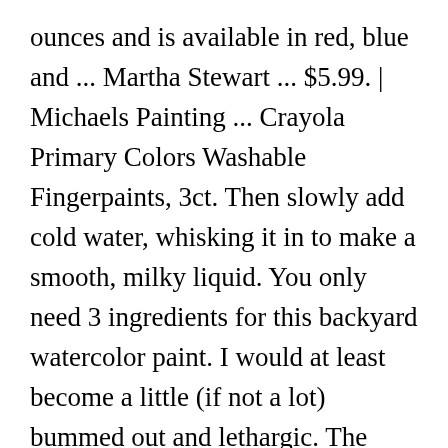ounces and is available in red, blue and ... Martha Stewart ... $5.99. | Michaels Painting ... Crayola Primary Colors Washable Fingerpaints, 3ct. Then slowly add cold water, whisking it in to make a smooth, milky liquid. You only need 3 ingredients for this backyard watercolor paint. I would at least become a little (if not a lot) bummed out and lethargic. The Colorations Simply Washable Tempera Paint, 6 ct and the U.S. Art Supply Washable Tempera Paint For Kids, 18-Piece are both tempera paints. The dish soap makes this finger paint wash out of anything my girls have painted with it. Like how to make watercolor paint? By adding more or less water you can reach the texture you prefer. I had lived in apartments previously